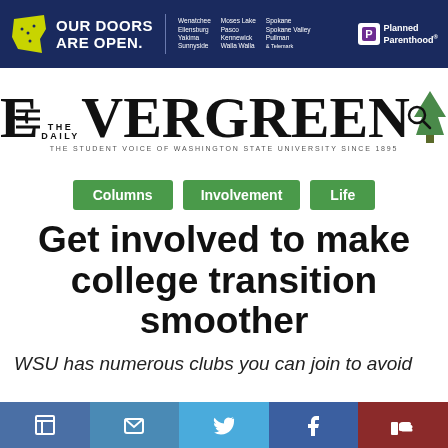[Figure (other): Planned Parenthood advertisement banner with navy background, Washington state silhouette in yellow-green, 'OUR DOORS ARE OPEN.' headline, list of WA cities (Wenatchee, Ellensburg, Yakima, Sunnyside, Moses Lake, Pasco, Kennewick, Walla Walla, Spokane, Spokane Valley, Pullman & Telemark), and Planned Parenthood logo]
[Figure (logo): The Daily Evergreen newspaper logo — 'THE DAILY EVERGREEN' with large E and green tree icon, tagline 'THE STUDENT VOICE OF WASHINGTON STATE UNIVERSITY SINCE 1895']
Columns
Involvement
Life
Get involved to make college transition smoother
WSU has numerous clubs you can join to avoid